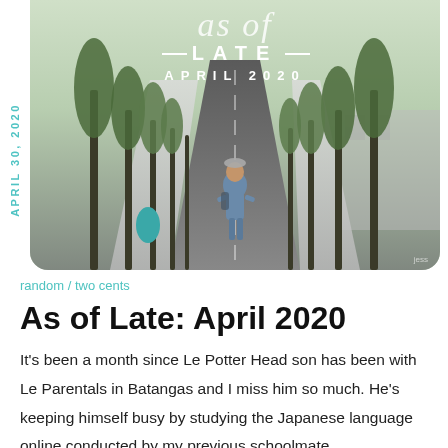[Figure (photo): Blog header image showing a person standing on a tree-lined road/avenue with text overlay reading 'as of Late — LATE — APRIL 2020' and a rotated date label 'APRIL 30, 2020' on the left side]
random / two cents
As of Late: April 2020
It's been a month since Le Potter Head son has been with Le Parentals in Batangas and I miss him so much. He's keeping himself busy by studying the Japanese language online conducted by my previous schoolmate